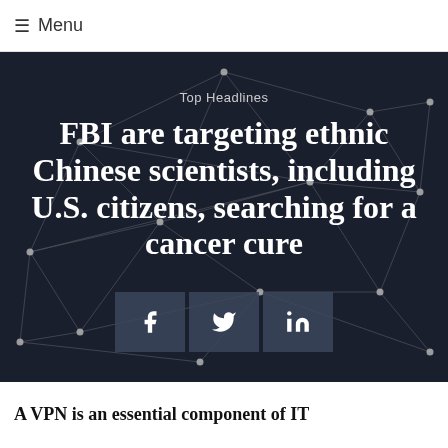≡ Menu
[Figure (illustration): Dark navy background with a network of connected nodes and lines (polygon network graph), serving as a decorative hero background]
Top Headlines
FBI are targeting ethnic Chinese scientists, including U.S. citizens, searching for a cancer cure
Social share buttons: Facebook, Twitter, LinkedIn
A VPN is an essential component of IT